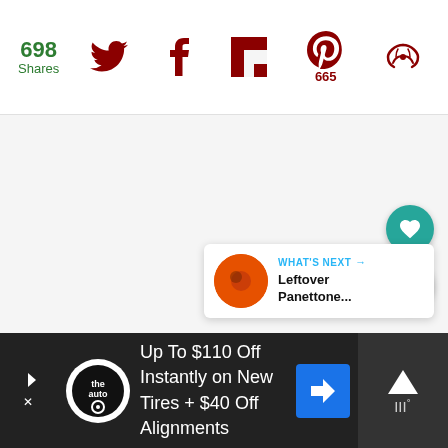698 Shares | Social share icons: Twitter, Facebook, Flipboard, Pinterest (665), Feed
[Figure (screenshot): Large blank/empty content area with light gray background]
[Figure (infographic): Floating teal heart button and white share button on right side]
[Figure (infographic): What's Next card with food thumbnail: 'Leftover Panettone...' with teal arrow]
[Figure (infographic): Advertisement bar: 'Up To $110 Off Instantly on New Tires + $40 Off Alignments' with tire auto logo and blue navigation arrow. Right panel with up arrow and brand mark.]